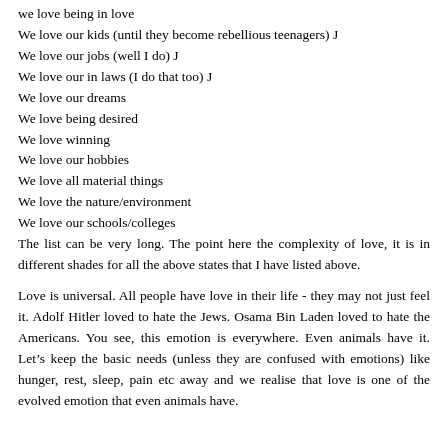we love being in love
We love our kids (until they become rebellious teenagers) J
We love our jobs (well I do) J
We love our in laws (I do that too) J
We love our dreams
We love being desired
We love winning
We love our hobbies
We love all material things
We love the nature/environment
We love our schools/colleges
The list can be very long. The point here the complexity of love, it is in different shades for all the above states that I have listed above.
Love is universal. All people have love in their life - they may not just feel it. Adolf Hitler loved to hate the Jews. Osama Bin Laden loved to hate the Americans. You see, this emotion is everywhere. Even animals have it. Let’s keep the basic needs (unless they are confused with emotions) like hunger, rest, sleep, pain etc away and we realise that love is one of the evolved emotion that even animals have.